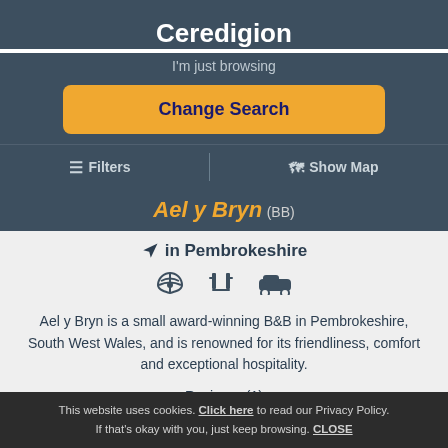Ceredigion
I'm just browsing
Change Search
≡ Filters | 🗺 Show Map
Ael y Bryn (BB)
in Pembrokeshire
Ael y Bryn is a small award-winning B&B in Pembrokeshire, South West Wales, and is renowned for its friendliness, comfort and exceptional hospitality.
Reviews: (1)
View
This website uses cookies. Click here to read our Privacy Policy. If that's okay with you, just keep browsing. CLOSE